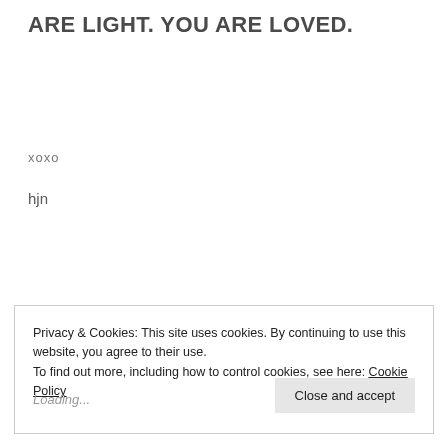ARE LIGHT. YOU ARE LOVED.
xoxo
hjn
Privacy & Cookies: This site uses cookies. By continuing to use this website, you agree to their use.
To find out more, including how to control cookies, see here: Cookie Policy
Close and accept
Loading...